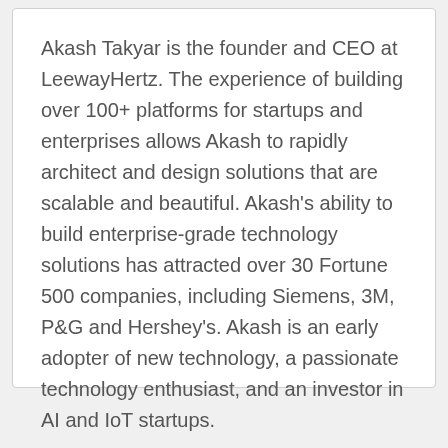Akash Takyar is the founder and CEO at LeewayHertz. The experience of building over 100+ platforms for startups and enterprises allows Akash to rapidly architect and design solutions that are scalable and beautiful. Akash's ability to build enterprise-grade technology solutions has attracted over 30 Fortune 500 companies, including Siemens, 3M, P&G and Hershey's. Akash is an early adopter of new technology, a passionate technology enthusiast, and an investor in AI and IoT startups.
Write to Akash